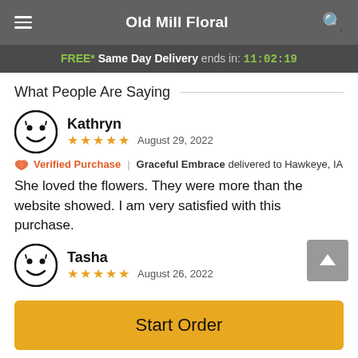Old Mill Floral
FREE* Same Day Delivery ends in: 11:02:19
What People Are Saying
Kathryn
★★★★★  August 29, 2022
🌹 Verified Purchase | Graceful Embrace delivered to Hawkeye, IA
She loved the flowers. They were more than the website showed. I am very satisfied with this purchase.
Tasha
★★★★★  August 26, 2022
Start Order